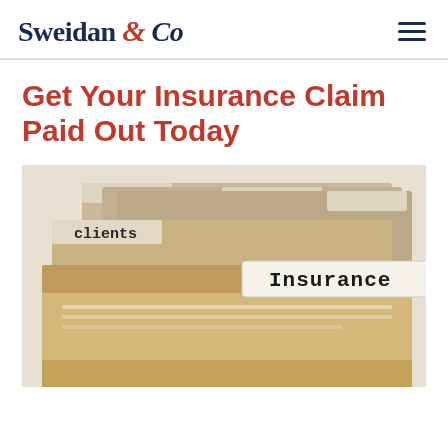Sweidan & Co
Get Your Insurance Claim Paid Out Today
[Figure (photo): File folders with tabs labeled 'clients' and 'Insurance' in a filing cabinet, beige/brown folders on light background]